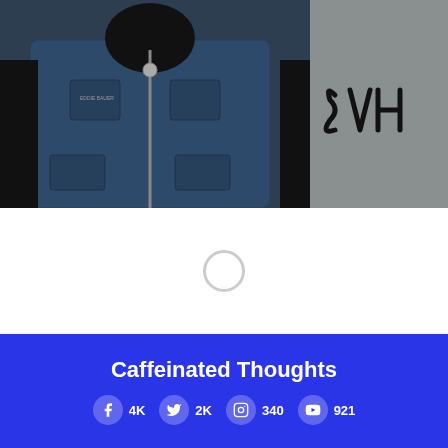[Figure (photo): Person wearing a dark blue fleece zip-up jacket with a small logo on the chest. The right side of the image has a gray background with the handwritten initials 'SVH' in black marker.]
[Figure (other): Loading spinner / circular loading indicator on white background]
Caffeinated Thoughts
Facebook 4K  Twitter 2K  Instagram 340  YouTube 921